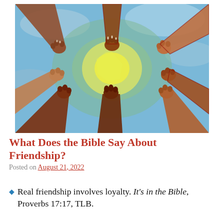[Figure (illustration): Colorful illustration of multiple hands of different skin tones reaching inward from all directions forming a star/circle shape in the center, against a blue and green globe-like background. The arms form a radial pattern converging at the center.]
What Does the Bible Say About Friendship?
Posted on August 21, 2022
Real friendship involves loyalty. It's in the Bible, Proverbs 17:17, TLB.